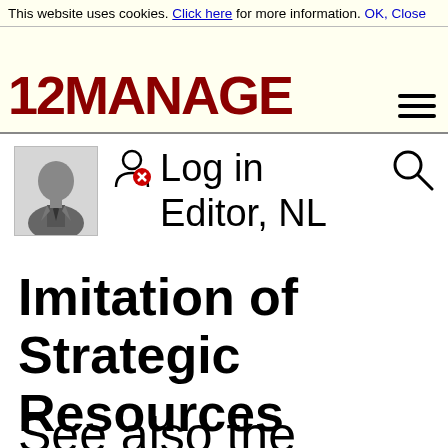This website uses cookies. Click here for more information. OK, Close
[Figure (logo): 12MANAGE logo in dark red/maroon bold text with hamburger menu icon]
[Figure (illustration): Silhouette avatar of a person in suit with red X badge indicating not logged in, followed by Log in / Editor, NL text and a search magnifying glass icon]
Imitation of Strategic Resources
See also the